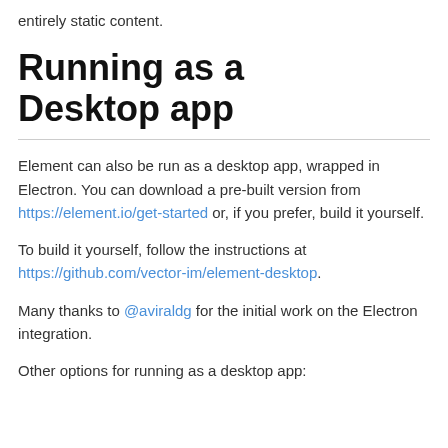entirely static content.
Running as a Desktop app
Element can also be run as a desktop app, wrapped in Electron. You can download a pre-built version from https://element.io/get-started or, if you prefer, build it yourself.
To build it yourself, follow the instructions at https://github.com/vector-im/element-desktop.
Many thanks to @aviraldg for the initial work on the Electron integration.
Other options for running as a desktop app: